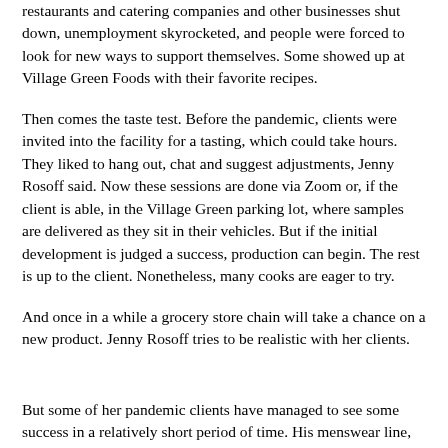restaurants and catering companies and other businesses shut down, unemployment skyrocketed, and people were forced to look for new ways to support themselves. Some showed up at Village Green Foods with their favorite recipes.
Then comes the taste test. Before the pandemic, clients were invited into the facility for a tasting, which could take hours. They liked to hang out, chat and suggest adjustments, Jenny Rosoff said. Now these sessions are done via Zoom or, if the client is able, in the Village Green parking lot, where samples are delivered as they sit in their vehicles. But if the initial development is judged a success, production can begin. The rest is up to the client. Nonetheless, many cooks are eager to try.
And once in a while a grocery store chain will take a chance on a new product. Jenny Rosoff tries to be realistic with her clients.
But some of her pandemic clients have managed to see some success in a relatively short period of time. His menswear line, Monadic, had just launched when the pandemic hit, and retailers were forced to close for a time before entering a cycle of limited reopening and closing. Instead of hunkering down and waiting for things to reopen, Strong, based in San Clemente, took it as a to finally launch his side business, Strongarm Barbeque, a barbecue